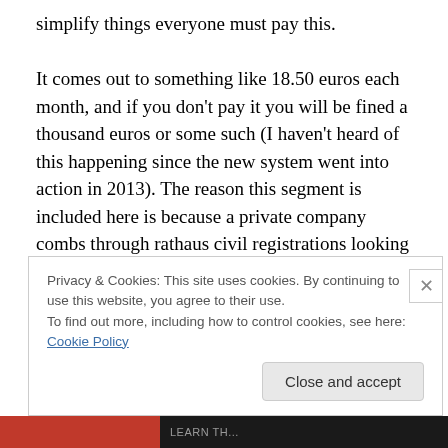simplify things everyone must pay this.

It comes out to something like 18.50 euros each month, and if you don't pay it you will be fined a thousand euros or some such (I haven't heard of this happening since the new system went into action in 2013). The reason this segment is included here is because a private company combs through rathaus civil registrations looking for new people and then reports its findings to a different company affiliated with the state that collects the so-called GEZ tax. So once you register you can expect to start getting letters
Privacy & Cookies: This site uses cookies. By continuing to use this website, you agree to their use.
To find out more, including how to control cookies, see here: Cookie Policy
Close and accept